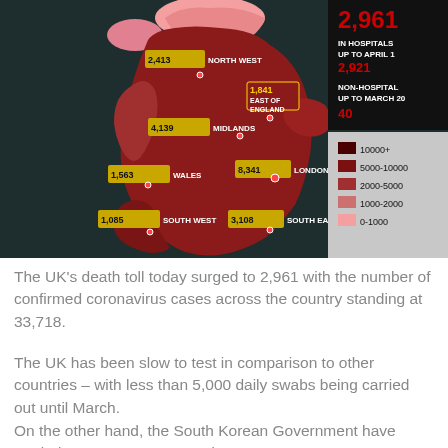[Figure (map): Map of England and Wales showing COVID-19 death tolls by region: North West 2,413; Midlands 4,139; East of England 1,841; Wales 1,563; London 8,341; South West 1,085; South East 3,108. Color-coded legend: 10000+ (darkest), 5000-10000, 2000-5000, 1000-2000, 0-1000 (lightest pink). Info box: In Hospitals Up To April 1: 2,921; Non-Hospital Up To March 20: 40.]
The UK's death toll today surged to 2,961 with the number of confirmed coronavirus cases across the country standing at 33,718.
The UK has been slow to test in comparison to other countries – with less than 5,000 daily swabs being carried out until March.
On the other hand, the South Korean Government have carried out 400,000 tests and